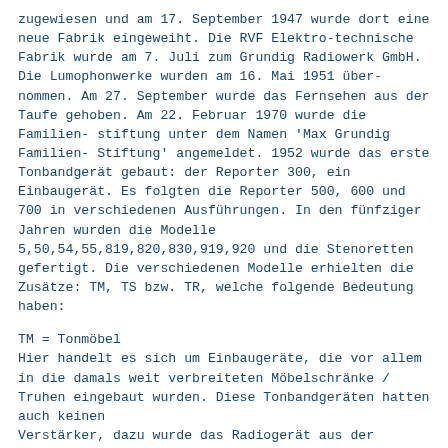zugewiesen und am 17. September 1947 wurde dort eine neue Fabrik eingeweiht. Die RVF Elektro-technische Fabrik wurde am 7. Juli zum Grundig Radiowerk GmbH. Die Lumophonwerke wurden am 16. Mai 1951 über-nommen. Am 27. September wurde das Fernsehen aus der Taufe gehoben. Am 22. Februar 1970 wurde die Familien-stiftung unter dem Namen 'Max Grundig Familien-Stiftung' angemeldet. 1952 wurde das erste Tonbandgerät gebaut: der Reporter 300, ein Einbaugerät. Es folgten die Reporter 500, 600 und 700 in verschiedenen Ausführungen. In den fünfziger Jahren wurden die Modelle 5,50,54,55,819,820,830,919,920 und die Stenoretten gefertigt. Die verschiedenen Modelle erhielten die Zusätze: TM, TS bzw. TR, welche folgende Bedeutung haben:
TM = Tonmöbel
Hier handelt es sich um Einbaugeräte, die vor allem in die damals weit verbreiteten Möbelschränke / Truhen eingebaut wurden. Diese Tonbandgeräten hatten auch keinen
Verstärker, dazu wurde das Radiogerät aus der